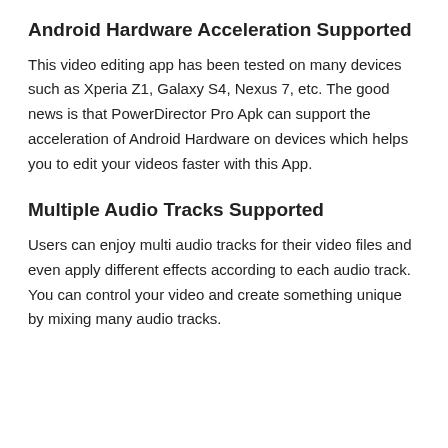Android Hardware Acceleration Supported
This video editing app has been tested on many devices such as Xperia Z1, Galaxy S4, Nexus 7, etc. The good news is that PowerDirector Pro Apk can support the acceleration of Android Hardware on devices which helps you to edit your videos faster with this App.
Multiple Audio Tracks Supported
Users can enjoy multi audio tracks for their video files and even apply different effects according to each audio track. You can control your video and create something unique by mixing many audio tracks.